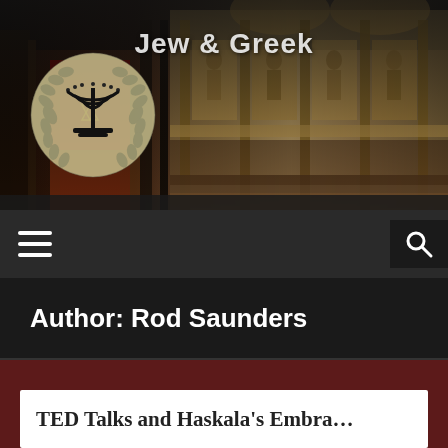[Figure (photo): Website header banner showing the interior of religious buildings — a synagogue and an Orthodox church — with dark wooden architecture, ornate iconostasis, chandeliers, and stained decorations. A circular logo featuring a menorah (candlestick) with laurel wreath is overlaid on the left side.]
Jew & Greek
Navigation bar with hamburger menu and search icon
Author: Rod Saunders
TED Talks and Haskala's Embra…